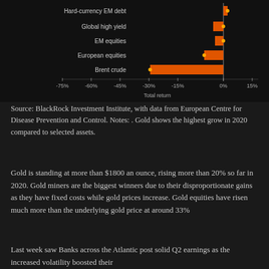[Figure (bar-chart): Total return]
Source: BlackRock Investment Institute, with data from European Centre for Disease Prevention and Control. Notes: . Gold shows the highest grow in 2020 compared to selected assets.
Gold is standing at more than $1800 an ounce, rising more than 20% so far in 2020. Gold miners are the biggest winners due to their disproportionate gains as they have fixed costs while gold prices increase. Gold equities have risen much more than the underlying gold price at around 33%
Last week saw Banks across the Atlantic post solid Q2 earnings as the increased volatility boosted their